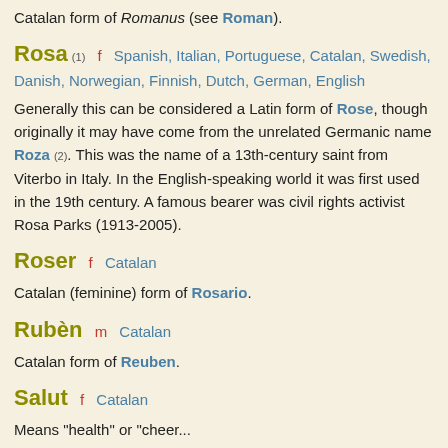Catalan form of Romanus (see Roman).
Rosa (1)   f   Spanish, Italian, Portuguese, Catalan, Swedish, Danish, Norwegian, Finnish, Dutch, German, English
Generally this can be considered a Latin form of Rose, though originally it may have come from the unrelated Germanic name Roza (2). This was the name of a 13th-century saint from Viterbo in Italy. In the English-speaking world it was first used in the 19th century. A famous bearer was civil rights activist Rosa Parks (1913-2005).
Roser   f   Catalan
Catalan (feminine) form of Rosario.
Rubèn   m   Catalan
Catalan form of Reuben.
Salut   f   Catalan
Means "health" or "cheer...
Salvador   m   Span...
Spanish, Portuguese and...